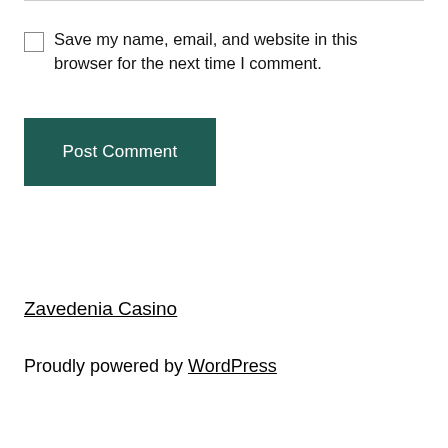Save my name, email, and website in this browser for the next time I comment.
Post Comment
Zavedenia Casino
Proudly powered by WordPress